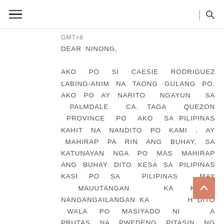≡  |🔍
GMT+8
DEAR NINONG,

AKO PO SI CAESIE RODRIGUEZ LABING-ANIM NA TAONG GULANG PO. AKO PO AY NARITO NGAYUN SA PALMDALE CA. TAGA QUEZON PROVINCE PO AKO SA PILIPINAS KAHIT NA NANDITO PO KAMI , AY MAHIRAP PA RIN ANG BUHAY, SA KATUNAYAN NGA PO MAS MAHIRAP ANG BUHAY DITO KESA SA PILIPINAS KASI PO SA PILIPINAS MAY MAUUTANGAN KA KAPAG NANGANGAILANGAN KA DITO WALA PO MASIYADO NI A PRUTAS NA PWEDENG PITASIN NG LIBRE WALA PO HINDI TULAD SA